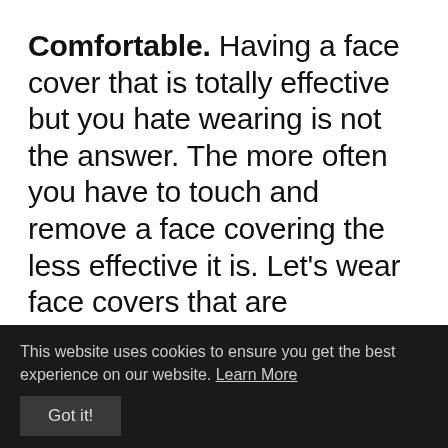Comfortable. Having a face cover that is totally effective but you hate wearing is not the answer. The more often you have to touch and remove a face covering the less effective it is. Let's wear face covers that are comfortable enough to wear for long periods.
Sustainable. This is a biggie for us and one of the key reasons we
This website uses cookies to ensure you get the best experience on our website. Learn More
Got it!